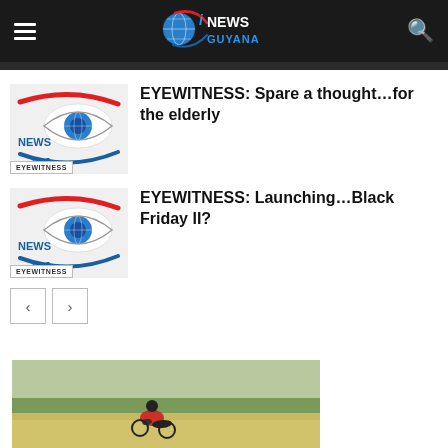iNEWS GUYANA
[Figure (photo): iNews Guyana logo with globe and swoosh design]
[Figure (photo): EYEWITNESS thumbnail image with news eye logo]
EYEWITNESS: Spare a thought…for the elderly
[Figure (photo): EYEWITNESS thumbnail image with news eye logo]
EYEWITNESS: Launching…Black Friday II?
[Figure (photo): Cycling photo at bottom of page]